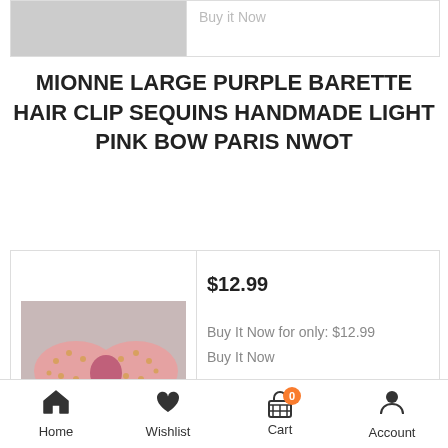[Figure (photo): Partial product card at top with gray product image and Buy It Now text]
MIONNE LARGE PURPLE BARETTE HAIR CLIP SEQUINS HANDMADE LIGHT PINK BOW PARIS NWOT
[Figure (photo): Product card showing a pink bow hair clip barrette with sequins on a light background]
$12.99
Buy It Now for only: $12.99
Buy It Now
MIONNE LARGE BROWN BARETTE HAIR CLIP SEQUINS LIGHT COLOR
Home   Wishlist   Cart 0   Account